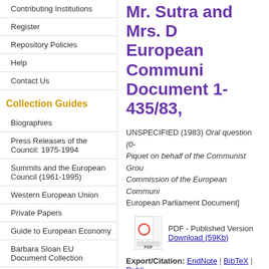Contributing Institutions
Register
Repository Policies
Help
Contact Us
Collection Guides
Biographies
Press Releases of the Council: 1975-1994
Summits and the European Council (1961-1995)
Western European Union
Private Papers
Guide to European Economy
Barbara Sloan EU Document Collection
Search and Browse
Mr. Sutra and Mrs. D... European Communi... Document 1-435/83,
UNSPECIFIED (1983) Oral question (0-... Piquet on behalf of the Communist Grou... Commission of the European Communi... European Parliament Document]
PDF - Published Version
Download (59Kb)
Export/Citation: EndNote | BibTeX | Dubli...
Social Networking: Share
| Field | Value |
| --- | --- |
| Item Type: | EU E... |
| Subjects for non-EU documents: | UNSP... |
| Subjects for EU documents: | Instit... |
| EU Series and Periodicals: | GEN... |
| EU Annual Reports: | UNSP... |